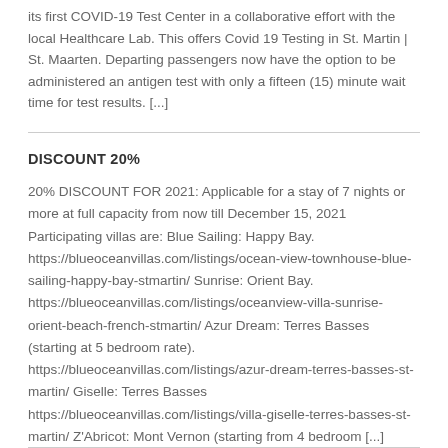its first COVID-19 Test Center in a collaborative effort with the local Healthcare Lab. This offers Covid 19 Testing in St. Martin | St. Maarten. Departing passengers now have the option to be administered an antigen test with only a fifteen (15) minute wait time for test results. [...]
DISCOUNT 20%
20% DISCOUNT FOR 2021: Applicable for a stay of 7 nights or more at full capacity from now till December 15, 2021 Participating villas are: Blue Sailing: Happy Bay. https://blueoceanvillas.com/listings/ocean-view-townhouse-blue-sailing-happy-bay-stmartin/ Sunrise: Orient Bay. https://blueoceanvillas.com/listings/oceanview-villa-sunrise-orient-beach-french-stmartin/ Azur Dream: Terres Basses (starting at 5 bedroom rate). https://blueoceanvillas.com/listings/azur-dream-terres-basses-st-martin/ Giselle: Terres Basses https://blueoceanvillas.com/listings/villa-giselle-terres-basses-st-martin/ Z'Abricot: Mont Vernon (starting from 4 bedroom [...]